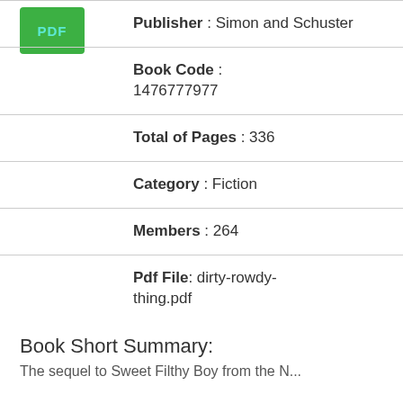[Figure (other): Green PDF badge/button with cyan text 'PDF']
Publisher : Simon and Schuster
Book Code : 1476777977
Total of Pages : 336
Category : Fiction
Members : 264
Pdf File: dirty-rowdy-thing.pdf
Book Short Summary:
The sequel to Sweet Filthy Boy from the N...